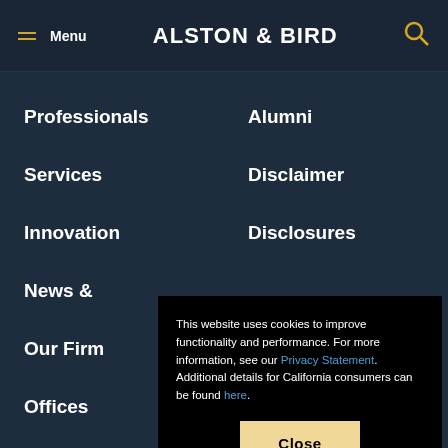Menu | ALSTON & BIRD
Professionals
Alumni
Services
Disclaimer
Innovation
Disclosures
News &
Our Firm
Offices
Careers
This website uses cookies to improve functionality and performance. For more information, see our Privacy Statement. Additional details for California consumers can be found here.
Close